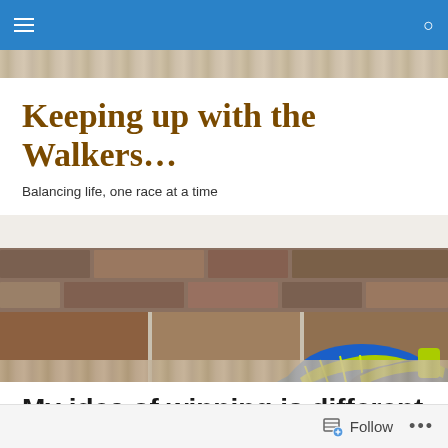Navigation bar with hamburger menu and search icon
Keeping up with the Walkers…
Balancing life, one race at a time
[Figure (photo): Blue and yellow/green running shoes (ASICS) placed on a tiled stone floor with stone wall background]
My idea of winning is different to yours.
Follow   •••